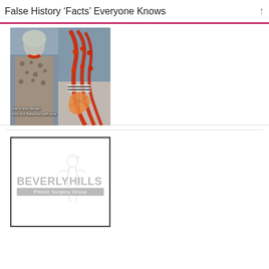False History 'Facts' Everyone Knows
[Figure (photo): Collage of two photos: left shows a woman wearing a leopard print dress and red coral necklace; right shows a close-up of red coral beaded necklace with shell pendant. Text overlay reads: 'maria brito design from the Bahamas with love']
[Figure (logo): Beverly Hills Plastic Surgery Group logo — light gray text and decorative figure illustration on white background with black border]